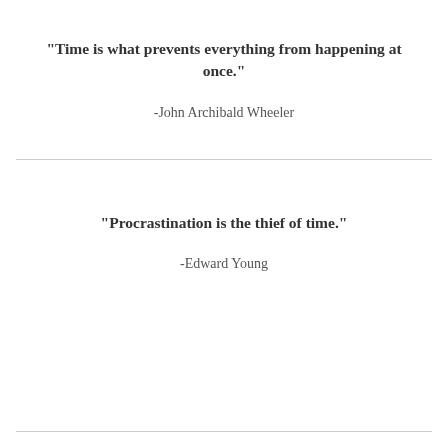“Time is what prevents everything from happening at once.”
-John Archibald Wheeler
“Procrastination is the thief of time.”
-Edward Young